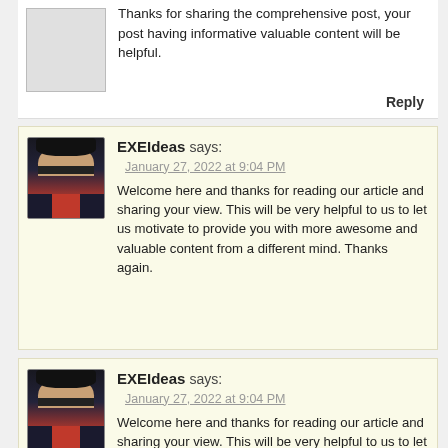Thanks for sharing the comprehensive post, your post having informative valuable content will be helpful.
Reply
[Figure (photo): Profile photo of EXEIdeas author, man in dark jacket and red shirt]
EXEIdeas says:
January 27, 2022 at 9:04 PM
Welcome here and thanks for reading our article and sharing your view. This will be very helpful to us to let us motivate to provide you with more awesome and valuable content from a different mind. Thanks again.
[Figure (photo): Profile photo of EXEIdeas author, man in dark jacket and red shirt]
EXEIdeas says:
January 27, 2022 at 9:04 PM
Welcome here and thanks for reading our article and sharing your view. This will be very helpful to us to let us motivate to provide you with more awesome and valuable content from a